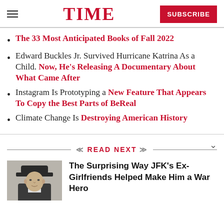TIME | SUBSCRIBE
The 33 Most Anticipated Books of Fall 2022
Edward Buckles Jr. Survived Hurricane Katrina As a Child. Now, He's Releasing A Documentary About What Came After
Instagram Is Prototyping a New Feature That Appears To Copy the Best Parts of BeReal
Climate Change Is Destroying American History
READ NEXT
The Surprising Way JFK's Ex-Girlfriends Helped Make Him a War Hero